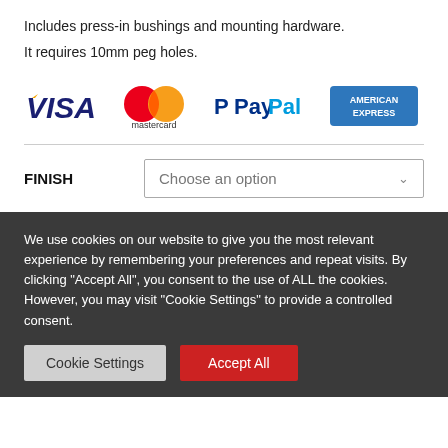Includes press-in bushings and mounting hardware.
It requires 10mm peg holes.
[Figure (logo): Payment method logos: Visa, Mastercard, PayPal, American Express]
FINISH   Choose an option
We use cookies on our website to give you the most relevant experience by remembering your preferences and repeat visits. By clicking "Accept All", you consent to the use of ALL the cookies. However, you may visit "Cookie Settings" to provide a controlled consent.
Cookie Settings | Accept All